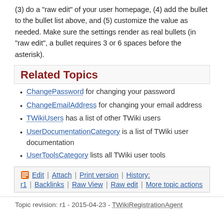(3) do a "raw edit" of your user homepage, (4) add the bullet to the bullet list above, and (5) customize the value as needed. Make sure the settings render as real bullets (in "raw edit", a bullet requires 3 or 6 spaces before the asterisk).
Related Topics
ChangePassword for changing your password
ChangeEmailAddress for changing your email address
TWikiUsers has a list of other TWiki users
UserDocumentationCategory is a list of TWiki user documentation
UserToolsCategory lists all TWiki user tools
Edit | Attach | Print version | History: r1 | Backlinks | Raw View | Raw edit | More topic actions
Topic revision: r1 - 2015-04-23 - TWikiRegistrationAgent